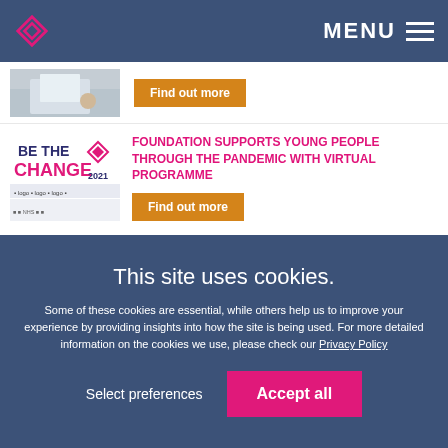MENU
[Figure (photo): Partially visible thumbnail of someone at a desk]
Find out more
[Figure (logo): Be The Change 2021 logo with partner logos below]
FOUNDATION SUPPORTS YOUNG PEOPLE THROUGH THE PANDEMIC WITH VIRTUAL PROGRAMME
Find out more
[Figure (photo): Two people headshots - a woman and a man]
New Partner Appointments Mark Positive New Year Start for MHA Carpenter Box
This site uses cookies.
Some of these cookies are essential, while others help us to improve your experience by providing insights into how the site is being used. For more detailed information on the cookies we use, please check our Privacy Policy
Select preferences
Accept all